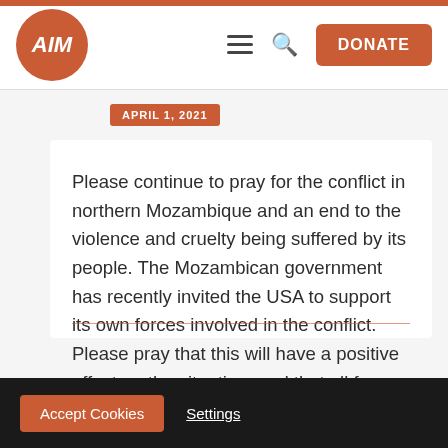[Figure (logo): Circular orange logo with stylized white text 'AIM' and Africa continent shape]
DONATE (navigation bar with hamburger menu and search icon)
APRIL 1, 2021
Please continue to pray for the conflict in northern Mozambique and an end to the violence and cruelty being suffered by its people. The Mozambican government has recently invited the USA to support its own forces involved in the conflict. Please pray that this will have a positive effect on the situation, and that all forces involved in trying to end the conflict will act for the good of Mozambicans who have already suffered so much.
Accept Cookies  Settings